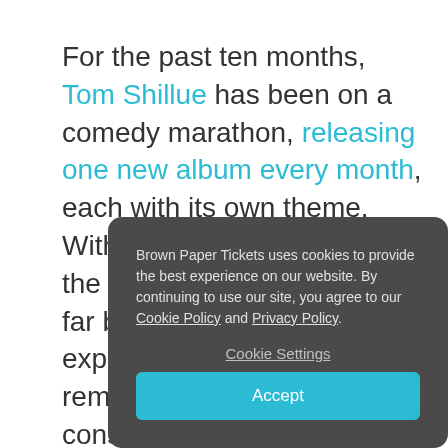For the past ten months, Tom Shillue has been on a comedy marathon, releasing one new album every month, each with its own theme. With Heyday, he is nearly to the finish line of what has so far been a successful experiment. He has done a remarkable job putting out consistently funny work, producing this series of Moth-like personal stories.
Brown Paper Tickets uses cookies to provide the best experience on our website. By continuing to use our site, you agree to our Cookie Policy and Privacy Policy. Cookie Settings Accept